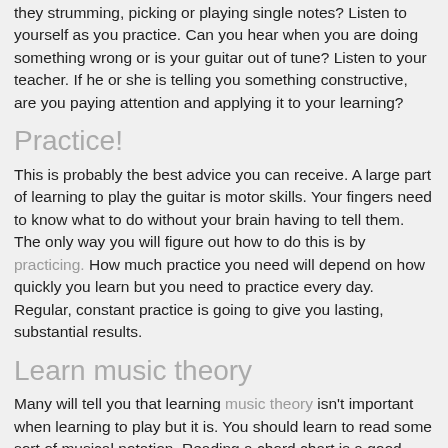they strumming, picking or playing single notes? Listen to yourself as you practice. Can you hear when you are doing something wrong or is your guitar out of tune? Listen to your teacher. If he or she is telling you something constructive, are you paying attention and applying it to your learning?
Practice!
This is probably the best advice you can receive. A large part of learning to play the guitar is motor skills. Your fingers need to know what to do without your brain having to tell them. The only way you will figure out how to do this is by practicing. How much practice you need will depend on how quickly you learn but you need to practice every day. Regular, constant practice is going to give you lasting, substantial results.
Learn music theory
Many will tell you that learning music theory isn't important when learning to play but it is. You should learn to read some sort of musical notation. Reading a chord chart is a good beginning and is important to your success. You should know the notes of each string and scales and how each chord